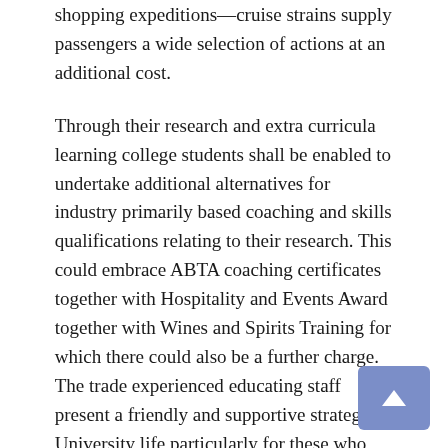shopping expeditions—cruise strains supply passengers a wide selection of actions at an additional cost.
Through their research and extra curricula learning college students shall be enabled to undertake additional alternatives for industry primarily based coaching and skills qualifications relating to their research. This could embrace ABTA coaching certificates together with Hospitality and Events Award together with Wines and Spirits Training for which there could also be a further charge. The trade experienced educating staff present a friendly and supportive strategy to University life particularly for these who are returning to tutorial research after either working or taking a